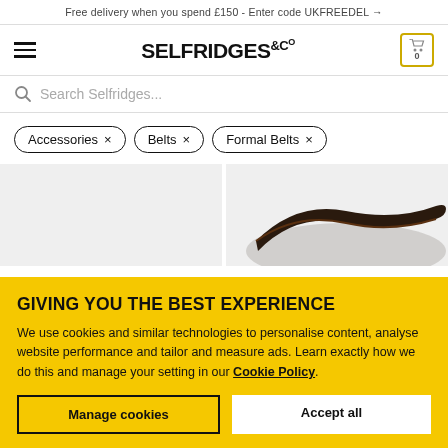Free delivery when you spend £150 - Enter code UKFREEDEL →
[Figure (logo): Selfridges & Co logo with hamburger menu icon on left and shopping cart icon (badge: 0) on right]
Search Selfridges...
Accessories ×
Belts ×
Formal Belts ×
[Figure (photo): Two product images side by side: left is a blank light grey panel, right shows a dark brown leather belt on a light grey background]
GIVING YOU THE BEST EXPERIENCE
We use cookies and similar technologies to personalise content, analyse website performance and tailor and measure ads. Learn exactly how we do this and manage your setting in our Cookie Policy.
Manage cookies
Accept all